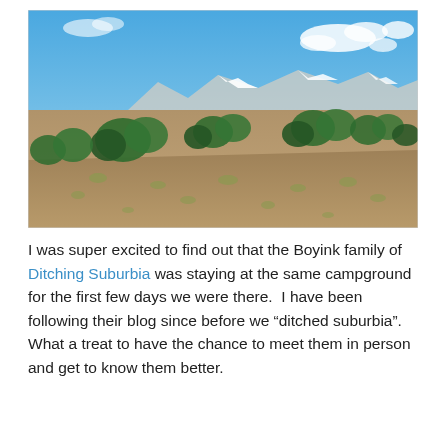[Figure (photo): Panoramic landscape photo showing a high desert scrubland with low brush and grasses in the foreground, green juniper/shrub trees in the middle ground, snow-capped mountains on the distant horizon under a bright blue sky with scattered white clouds.]
I was super excited to find out that the Boyink family of Ditching Suburbia was staying at the same campground for the first few days we were there.  I have been following their blog since before we “ditched suburbia”.  What a treat to have the chance to meet them in person and get to know them better.